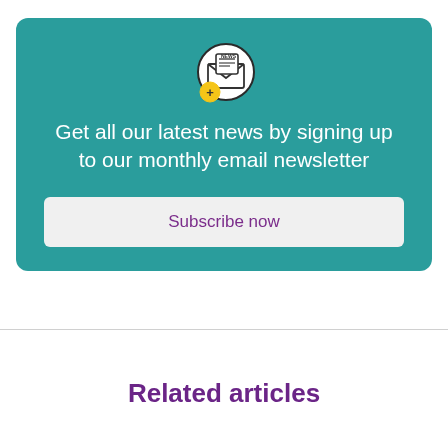[Figure (illustration): Newsletter subscription icon: a circle containing an open envelope with a newspaper inside, and a yellow circle with a plus sign at the bottom-left of the main circle.]
Get all our latest news by signing up to our monthly email newsletter
Subscribe now
Related articles